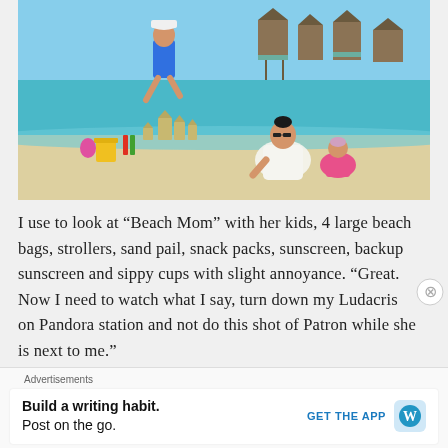[Figure (photo): Beach scene with a woman in white coverup and sunglasses leaning over sand, a young child in pink outfit beside her, and another child in blue shirt running in background. Sandcastles and colorful beach toys (yellow bucket, red and green shovels) are visible. Tropical overwater bungalows can be seen in the background.]
I use to look at “Beach Mom” with her kids, 4 large beach bags, strollers, sand pail, snack packs, sunscreen, backup sunscreen and sippy cups with slight annoyance. “Great. Now I need to watch what I say, turn down my Ludacris on Pandora station and not do this shot of Patron while she is next to me.”
Advertisements
Build a writing habit.
Post on the go.
GET THE APP